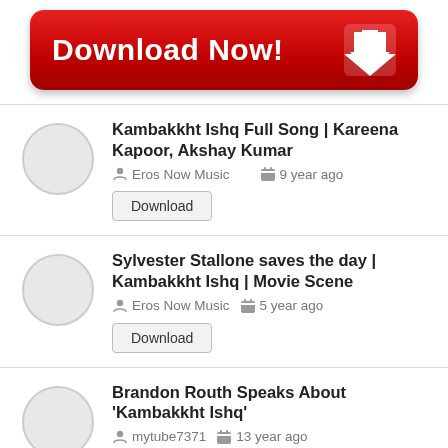[Figure (other): Red Download Now button with white arrow icon]
Kambakkht Ishq Full Song | Kareena Kapoor, Akshay Kumar
Eros Now Music  9 year ago
Download
Sylvester Stallone saves the day | Kambakkht Ishq | Movie Scene
Eros Now Music  5 year ago
Download
Brandon Routh Speaks About 'Kambakkht Ishq'
mytube7371  13 year ago
Download
Sylvester Stallone su Akshay Kumar...